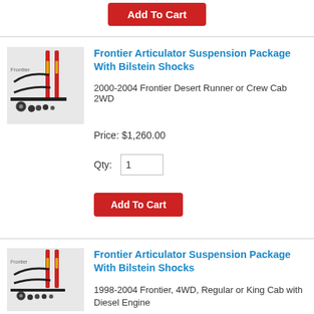[Figure (other): Add To Cart button at top of page]
[Figure (photo): Frontier Articulator Suspension Package with Bilstein Shocks product image - suspension components]
Frontier Articulator Suspension Package With Bilstein Shocks
2000-2004 Frontier Desert Runner or Crew Cab 2WD
Price: $1,260.00
Qty: 1
[Figure (other): Add To Cart button]
[Figure (photo): Frontier Articulator Suspension Package with Bilstein Shocks product image - suspension components]
Frontier Articulator Suspension Package With Bilstein Shocks
1998-2004 Frontier, 4WD, Regular or King Cab with Diesel Engine
Price: $1,360.00
Qty: 1